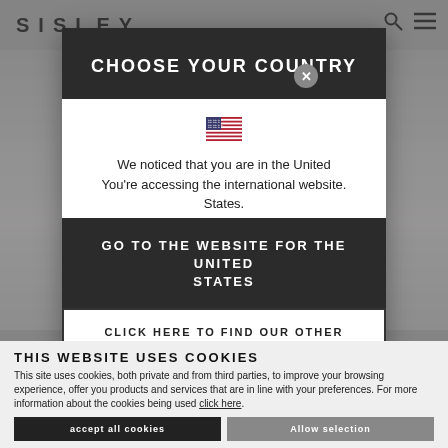[Figure (screenshot): Sisley fashion website background with greyed-out overlay showing a model wearing light blue denim shorts]
CHOOSE YOUR COUNTRY
[Figure (illustration): US flag emoji]
We noticed that you are in the United States. You're accessing the international website.
GO TO THE WEBSITE FOR THE UNITED STATES
CLICK HERE TO FIND OUR OTHER STORES
THIS WEBSITE USES COOKIES
This site uses cookies, both private and from third parties, to improve your browsing experience, offer you products and services that are in line with your preferences. For more information about the cookies being used click here.
Accept all cookies
Allow selection